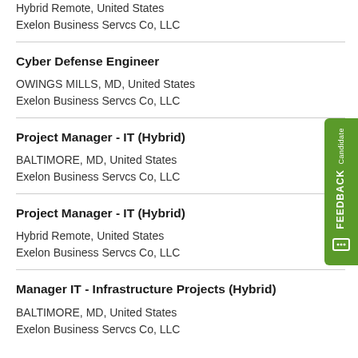Hybrid Remote, United States
Exelon Business Servcs Co, LLC
Cyber Defense Engineer
OWINGS MILLS, MD, United States
Exelon Business Servcs Co, LLC
Project Manager - IT (Hybrid)
BALTIMORE, MD, United States
Exelon Business Servcs Co, LLC
Project Manager - IT (Hybrid)
Hybrid Remote, United States
Exelon Business Servcs Co, LLC
Manager IT - Infrastructure Projects (Hybrid)
BALTIMORE, MD, United States
Exelon Business Servcs Co, LLC